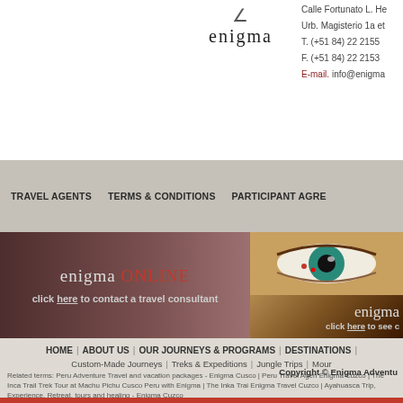[Figure (logo): Enigma travel company logo with stylized letters and company name 'enigma']
Calle Fortunato L. He
Urb. Magisterio 1a et
T. (+51 84) 22 2155
F. (+51 84) 22 2153
E-mail. info@enigma
TRAVEL AGENTS   TERMS & CONDITIONS   PARTICIPANT AGRE...
[Figure (screenshot): Enigma ONLINE banner - click here to contact a travel consultant]
[Figure (photo): Enigma banner with eye image - click here to see content]
HOME  |  ABOUT US  |  OUR JOURNEYS & PROGRAMS  |  DESTINATIONS  |
Custom-Made Journeys  |  Treks & Expeditions  |  Jungle Trips  |  Mour
Related terms: Peru Adventure Travel and vacation packages - Enigma Cusco | Peru Travel Agen Enigma Cuzco | The Inca Trail Trek Tour at Machu Pichu Cusco Peru with Enigma | The Inka Trai Enigma Travel Cuzco | Ayahuasca Trip, Experience, Retreat, tours and healing - Enigma Cuzco
Copyright © Enigma Adventu